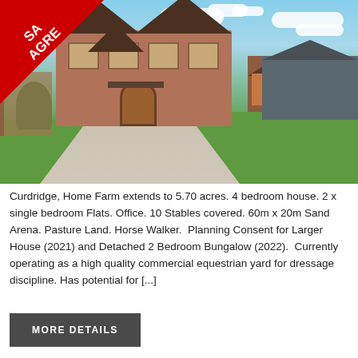[Figure (photo): Exterior photo of Home Farm property in Curdridge showing a large brick detached house with sweeping gravel driveway, garage/outbuilding, large barn to the right, and manicured lawns. A red 'Sale Agreed' banner triangle appears in the top-left corner.]
Curdridge, Home Farm extends to 5.70 acres. 4 bedroom house. 2 x single bedroom Flats. Office. 10 Stables covered. 60m x 20m Sand Arena. Pasture Land. Horse Walker.  Planning Consent for Larger House (2021) and Detached 2 Bedroom Bungalow (2022).  Currently operating as a high quality commercial equestrian yard for dressage discipline. Has potential for [...]
MORE DETAILS